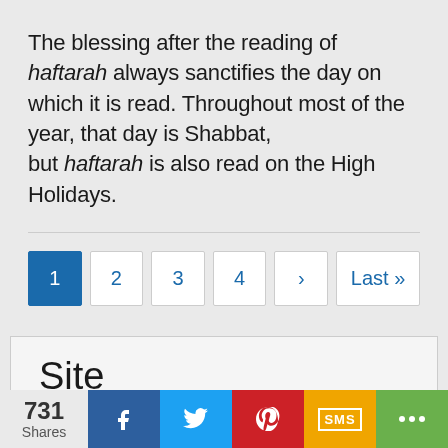The blessing after the reading of haftarah always sanctifies the day on which it is read. Throughout most of the year, that day is Shabbat, but haftarah is also read on the High Holidays.
1 2 3 4 › Last »
Site
(↓) ReformJudaism.Org
731 Shares